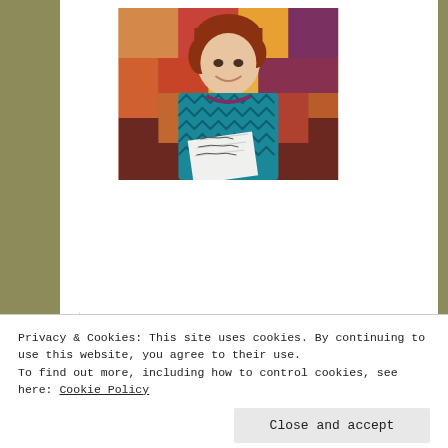[Figure (photo): Portrait photo of a smiling woman with short red hair, wearing a teal/blue zigzag patterned blazer and beaded necklace, holding a notebook with handwriting. Background is a colorful quilt.]
Privacy & Cookies: This site uses cookies. By continuing to use this website, you agree to their use.
To find out more, including how to control cookies, see here: Cookie Policy
Close and accept
Some poetry do’s and lots of do not’s